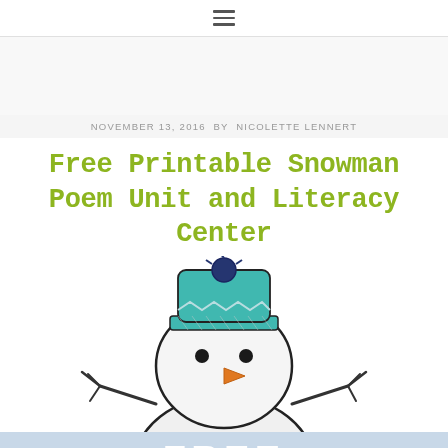≡
[Figure (other): Gray advertisement/banner placeholder area]
NOVEMBER 13, 2016  BY  NICOLETTE LENNERT
Free Printable Snowman Poem Unit and Literacy Center
[Figure (illustration): Cartoon snowman illustration wearing a teal and blue knit hat, carrot nose, black eyes, and stick arms spread wide. The snowman is shown from waist up and appears cheerful.]
[Figure (illustration): Light blue banner at the bottom showing the word FREE in large white bold letters]